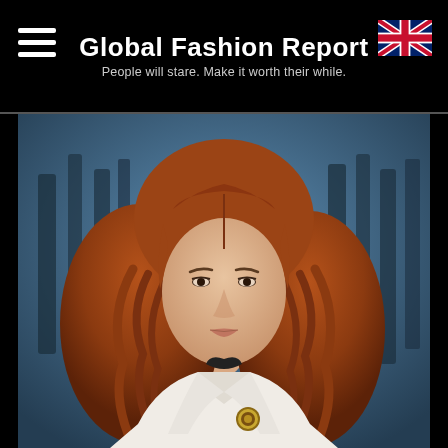Global Fashion Report — People will stare. Make it worth their while.
[Figure (photo): Fashion model with long wavy auburn/red hair, pale skin, wearing a white structured sleeveless blazer over a black mesh top, with a large round tortoiseshell brooch, against a blurred dark blue background.]